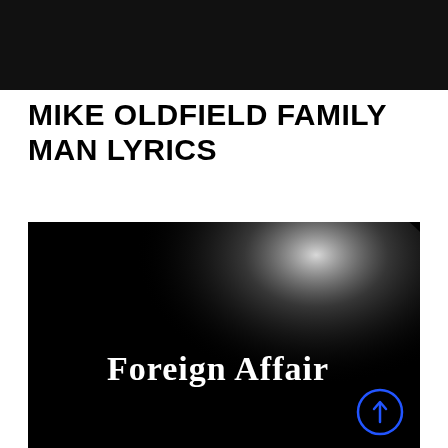[Figure (photo): Black banner/header image at the top of the page]
MIKE OLDFIELD FAMILY MAN LYRICS
[Figure (photo): Dark atmospheric image with a radial white glow in the center-right area, featuring the text 'Foreign Affair' in white serif font in the lower-center portion. A blue circular arrow icon is visible in the bottom-right corner.]